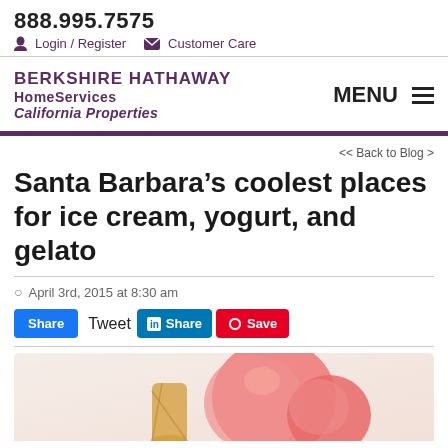888.995.7575  Login / Register  Customer Care
[Figure (logo): Berkshire Hathaway HomeServices California Properties logo with MENU button]
<< Back to Blog >
Santa Barbara’s coolest places for ice cream, yogurt, and gelato
April 3rd, 2015 at 8:30 am
Share  Tweet  Share  Save
[Figure (photo): Photo of pink/strawberry ice cream scoops with wafer rolls on white background]